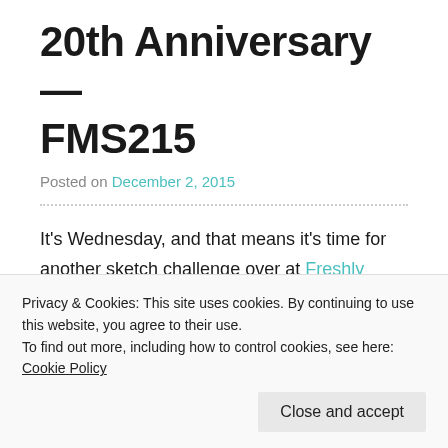20th Anniversary — FMS215
Posted on December 2, 2015
It’s Wednesday, and that means it’s time for another sketch challenge over at Freshly Made Sketches. And this week, the very talented Jen Mitchell is our hostess. She always makes such beautiful clean cards. This is what she has for us:
Privacy & Cookies: This site uses cookies. By continuing to use this website, you agree to their use.
To find out more, including how to control cookies, see here: Cookie Policy
Close and accept